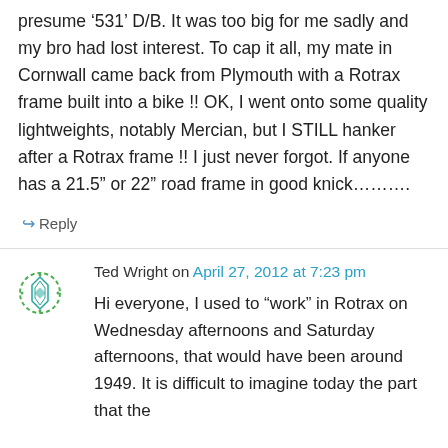presume ‘531’ D/B. It was too big for me sadly and my bro had lost interest. To cap it all, my mate in Cornwall came back from Plymouth with a Rotrax frame built into a bike !! OK, I went onto some quality lightweights, notably Mercian, but I STILL hanker after a Rotrax frame !! I just never forgot. If anyone has a 21.5” or 22” road frame in good knick……….
↳ Reply
Ted Wright on April 27, 2012 at 7:23 pm
Hi everyone, I used to “work” in Rotrax on Wednesday afternoons and Saturday afternoons, that would have been around 1949. It is difficult to imagine today the part that the